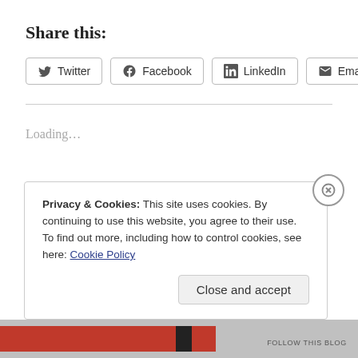Share this:
[Figure (other): Social share buttons: Twitter, Facebook, LinkedIn, Email]
Loading...
Privacy & Cookies: This site uses cookies. By continuing to use this website, you agree to their use.
To find out more, including how to control cookies, see here: Cookie Policy
Close and accept